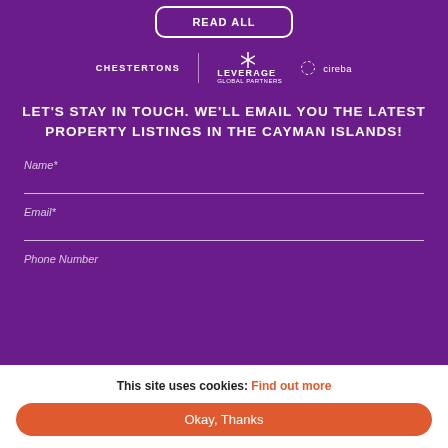READ ALL
[Figure (logo): Three partner logos: CHESTERTONS, LEVERAGE GLOBAL PARTNERS (with asterisk icon), and cireba (with dotted circle icon), displayed in white on purple background]
LET'S STAY IN TOUCH. WE'LL EMAIL YOU THE LATEST PROPERTY LISTINGS IN THE CAYMAN ISLANDS!
Name*
Email*
Phone Number
This site uses cookies: Find out more
Okay, Thanks